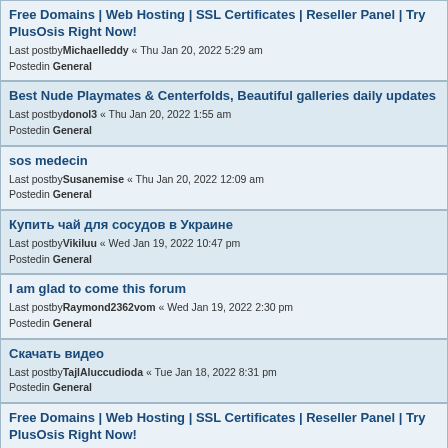Free Domains | Web Hosting | SSL Certificates | Reseller Panel | Try PlusOsis Right Now!
Last postby Michaelleddy « Thu Jan 20, 2022 5:29 am
Posted in General
Best Nude Playmates & Centerfolds, Beautiful galleries daily updates
Last postby donol3 « Thu Jan 20, 2022 1:55 am
Posted in General
sos medecin
Last postby Susanemise « Thu Jan 20, 2022 12:09 am
Posted in General
Купить чай для сосудов в Украине
Last postby Vikiluu « Wed Jan 19, 2022 10:47 pm
Posted in General
I am glad to come this forum
Last postby Raymond2362vom « Wed Jan 19, 2022 2:30 pm
Posted in General
Скачать видео
Last postby TajlAluccudioda « Tue Jan 18, 2022 8:31 pm
Posted in General
Free Domains | Web Hosting | SSL Certificates | Reseller Panel | Try PlusOsis Right Now!
Last postby Robertonar « Mon Jan 17, 2022 11:49 pm
Posted in General
Hot new pictures each day
Last postby albertzr11 « Mon Jan 17, 2022 8:15 pm
Posted in General